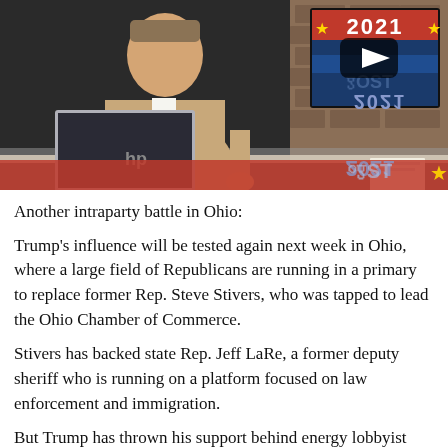[Figure (screenshot): News broadcast video thumbnail showing a male anchor in a beige suit seated at a desk with an HP laptop, with a TV screen showing '2021' with stars and red/blue patriotic graphics in the background. A YouTube play button is visible on the screen.]
Another intraparty battle in Ohio:
Trump's influence will be tested again next week in Ohio, where a large field of Republicans are running in a primary to replace former Rep. Steve Stivers, who was tapped to lead the Ohio Chamber of Commerce.
Stivers has backed state Rep. Jeff LaRe, a former deputy sheriff who is running on a platform focused on law enforcement and immigration.
But Trump has thrown his support behind energy lobbyist Mike Carey, who worked for one of the largest